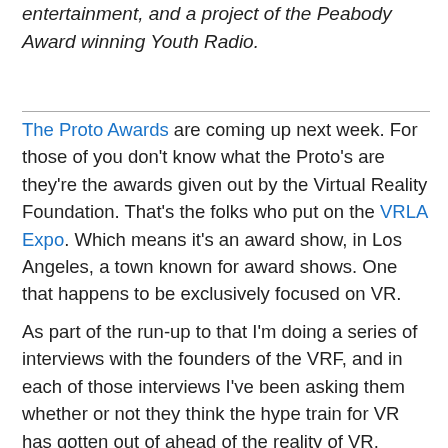entertainment, and a project of the Peabody Award winning Youth Radio.
The Proto Awards are coming up next week. For those of you don't know what the Proto's are they're the awards given out by the Virtual Reality Foundation. That's the folks who put on the VRLA Expo. Which means it's an award show, in Los Angeles, a town known for award shows. One that happens to be exclusively focused on VR.
As part of the run-up to that I'm doing a series of interviews with the founders of the VRF, and in each of those interviews I've been asking them whether or not they think the hype train for VR has gotten out of ahead of the reality of VR.